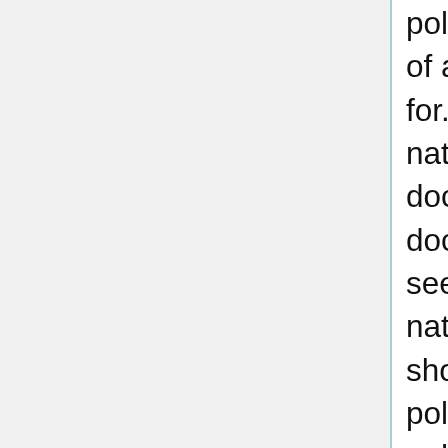policy as a nation, but a fulfil- ment, rather, of all that we have professed or striven for.      I am proposing, as it were, that the nations should with one accord adopt the doctrine of President Monroe as the doctrine of the world: that no nation should seek to extend its polity over any other nation or people, but that every people should be left free to determine its own polity, its own way of development, unhindered, unthreatened, unafraid, the little along with the great and powerful.      I am proposing that all nations henceforth avoid entangling alliances which would draw them into competitions of power, catch them in a net of intrigue and selfish rivalry, and disturb their own affairs with influences intruded from without. There is no entangling alliance in a concert of power.